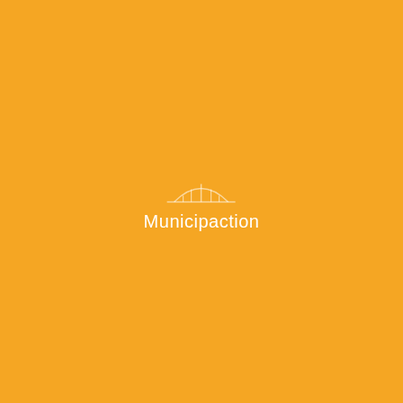[Figure (logo): Municipaction logo: a white arch/bridge icon above the word 'Municipaction' in white text, centered on an orange/amber background]